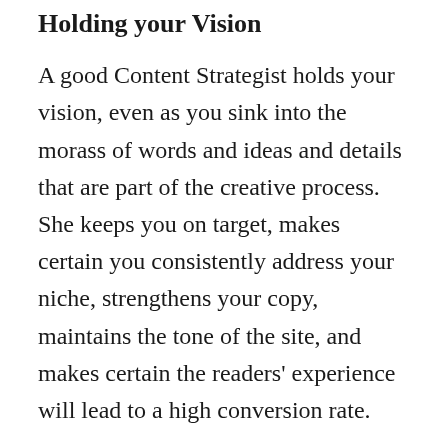Holding your Vision
A good Content Strategist holds your vision, even as you sink into the morass of words and ideas and details that are part of the creative process. She keeps you on target, makes certain you consistently address your niche, strengthens your copy, maintains the tone of the site, and makes certain the readers' experience will lead to a high conversion rate.
A Content Strategist Saves You Money
When you and your Content Strategist